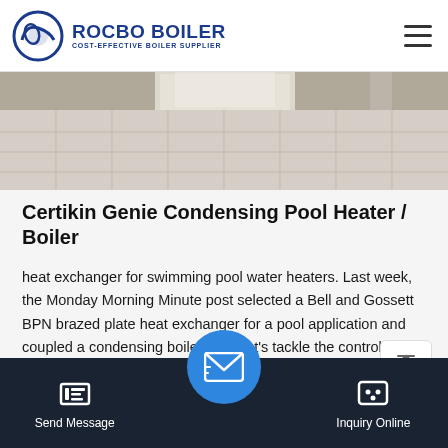ROCBO BOILER COST-EFFECTIVE BOILER SUPPLIER
[Figure (photo): Bottom portion of a room with white/light grey tile floor, showing light from doorway or opening]
Certikin Genie Condensing Pool Heater / Boiler
heat exchanger for swimming pool water heaters. Last week, the Monday Morning Minute post selected a Bell and Gossett BPN brazed plate heat exchanger for a pool application and coupled a condensing boiler. Now let's tackle the control schemes. How t…
Get Price
Send Message    Inquiry Online